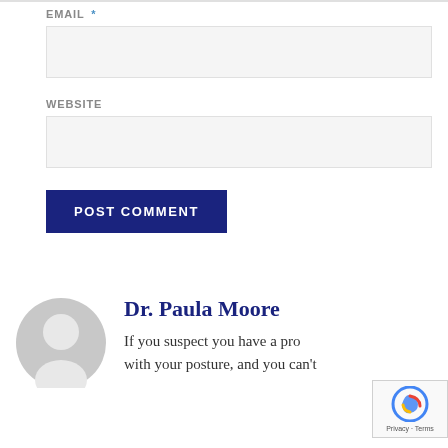EMAIL *
WEBSITE
POST COMMENT
[Figure (illustration): Circular grey avatar/profile placeholder icon]
Dr. Paula Moore
If you suspect you have a pro with your posture, and you can't